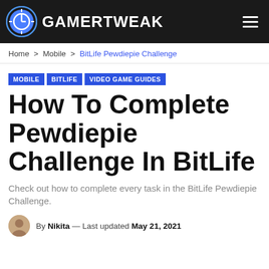GAMERTWEAK
Home > Mobile > BitLife Pewdiepie Challenge
MOBILE  BITLIFE  VIDEO GAME GUIDES
How To Complete Pewdiepie Challenge In BitLife
Check out how to complete every task in the BitLife Pewdiepie Challenge.
By Nikita — Last updated May 21, 2021